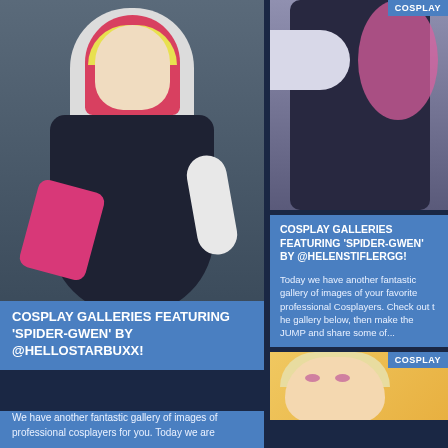[Figure (photo): Spider-Gwen cosplay photo by @HELLOSTARBUXX, woman in white hooded suit with pink/magenta details and dark bodysuit, posing dramatically]
COSPLAY GALLERIES FEATURING 'SPIDER-GWEN' BY @HELLOSTARBUXX!
We have another fantastic gallery of images of professional cosplayers for you. Today we are
COSPLAY
[Figure (photo): Spider-Gwen cosplay torso/body shot showing dark bodysuit with white and pink/magenta spider-web details]
COSPLAY GALLERIES FEATURING 'SPIDER-GWEN' BY @HELENSTIFLERGG!
Today we have another fantastic gallery of images of your favorite professional Cosplayers. Check out t he gallery below, then make the JUMP and share some of...
[Figure (photo): Blonde cosplayer (possibly Mercy from Overwatch) with peach/orange background, COSPLAY badge top right]